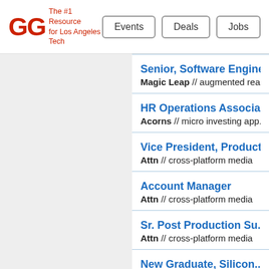[Figure (logo): GG logo with tagline 'The #1 Resource for Los Angeles Tech']
Events
Deals
Jobs
Senior, Software Engineer — Magic Leap // augmented rea...
HR Operations Associate — Acorns // micro investing app...
Vice President, Product — Attn // cross-platform media
Account Manager — Attn // cross-platform media
Sr. Post Production Supervisor — Attn // cross-platform media
New Graduate, Silicon...